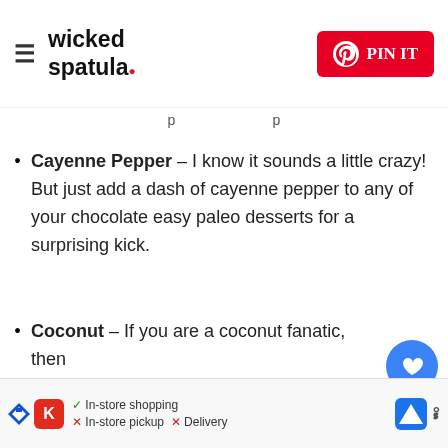wicked spatula — PIN IT
Cayenne Pepper – I know it sounds a little crazy! But just add a dash of cayenne pepper to any of your chocolate easy paleo desserts for a surprising kick.
Coconut – If you are a coconut fanatic, then really need to add in a couple of teaspoons of toasted coconut. I love the texture it gives the healthy mug cake!
Cinnamon – Once the gluten-free mug cake is finished, sprinkle it with a little cinnamon.